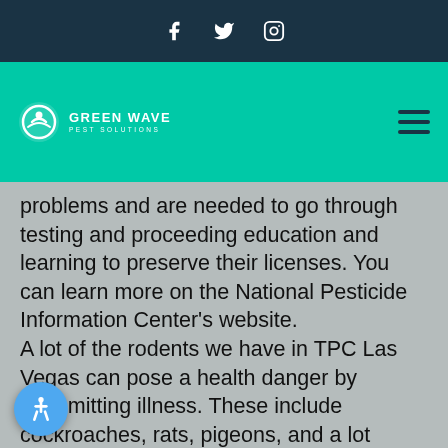Social media icons: Facebook, Twitter, Instagram
[Figure (logo): Green Wave Pest Solutions logo with teal navigation bar and hamburger menu]
problems and are needed to go through testing and proceeding education and learning to preserve their licenses. You can learn more on the National Pesticide Information Center's website.
A lot of the rodents we have in TPC Las Vegas can pose a health danger by transmitting illness. These include cockroaches, rats, pigeons, and a lot more. Professional pest control is the very best way to maintain them controlled in your home and yard over the long-term.